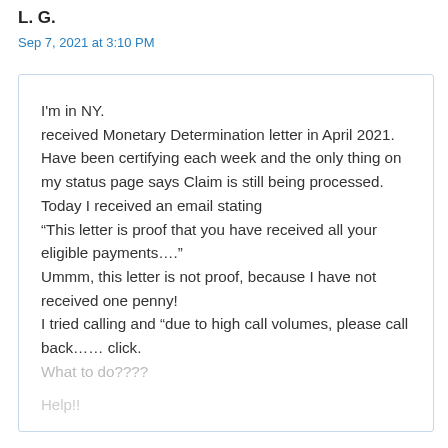L. G.
Sep 7, 2021 at 3:10 PM
I'm in NY.
received Monetary Determination letter in April 2021. Have been certifying each week and the only thing on my status page says Claim is still being processed.
Today I received an email stating
“This letter is proof that you have received all your eligible payments….”
Ummm, this letter is not proof, because I have not received one penny!
I tried calling and “due to high call volumes, please call back…… click.
What to do????
Help!!